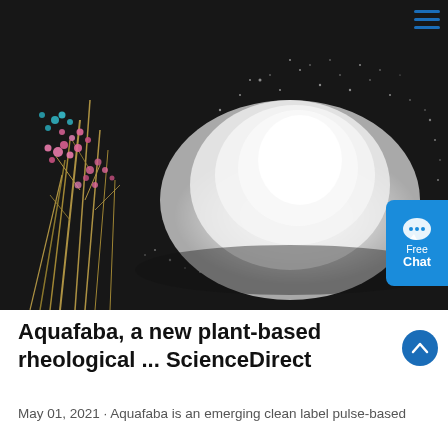[Figure (photo): A pile of white powder (aquafaba or similar plant-based ingredient) on a dark black background, with dried pink and blue floral plant stems on the left side. A blue 'Free Chat' widget is overlaid on the right edge. A hamburger menu icon is in the top-right corner.]
Aquafaba, a new plant-based rheological ... ScienceDirect
May 01, 2021 · Aquafaba is an emerging clean label pulse-based